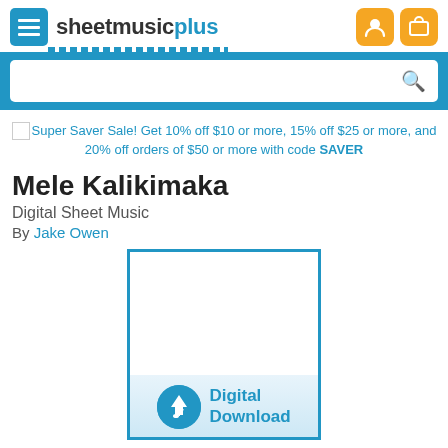sheetmusicplus
[Figure (screenshot): Search bar with blue background and magnifying glass icon]
Super Saver Sale! Get 10% off $10 or more, 15% off $25 or more, and 20% off orders of $50 or more with code SAVER
Mele Kalikimaka
Digital Sheet Music
By Jake Owen
[Figure (illustration): Sheet music product cover with blue border and Digital Download badge at bottom]